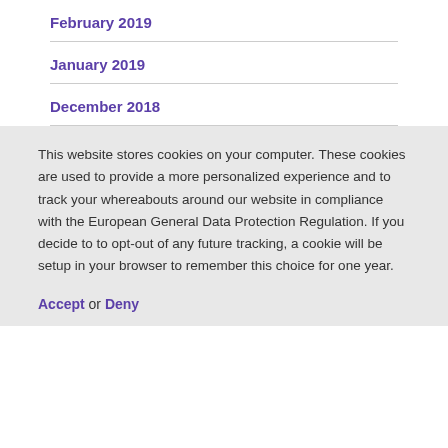February 2019
January 2019
December 2018
This website stores cookies on your computer. These cookies are used to provide a more personalized experience and to track your whereabouts around our website in compliance with the European General Data Protection Regulation. If you decide to to opt-out of any future tracking, a cookie will be setup in your browser to remember this choice for one year.
Accept or Deny